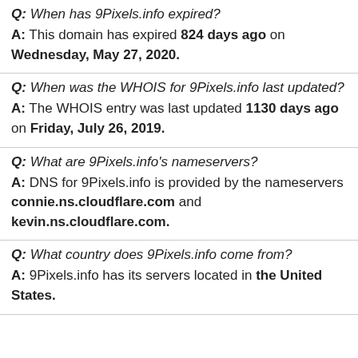Q: When has 9Pixels.info expired?
A: This domain has expired 824 days ago on Wednesday, May 27, 2020.
Q: When was the WHOIS for 9Pixels.info last updated?
A: The WHOIS entry was last updated 1130 days ago on Friday, July 26, 2019.
Q: What are 9Pixels.info's nameservers?
A: DNS for 9Pixels.info is provided by the nameservers connie.ns.cloudflare.com and kevin.ns.cloudflare.com.
Q: What country does 9Pixels.info come from?
A: 9Pixels.info has its servers located in the United States.